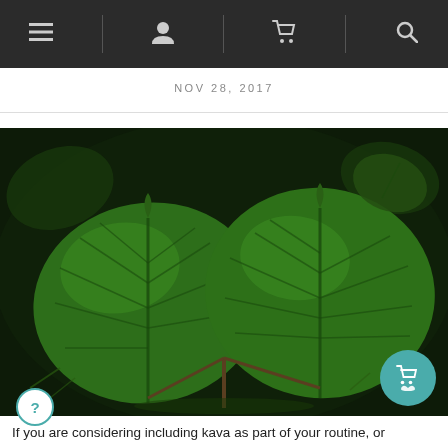Navigation bar with menu, user, cart, and search icons
NOV 28, 2017
[Figure (photo): Close-up photograph of large green kava plant leaves with visible veins, against a dark background of forest floor and foliage.]
If you are considering including kava as part of your routine, or